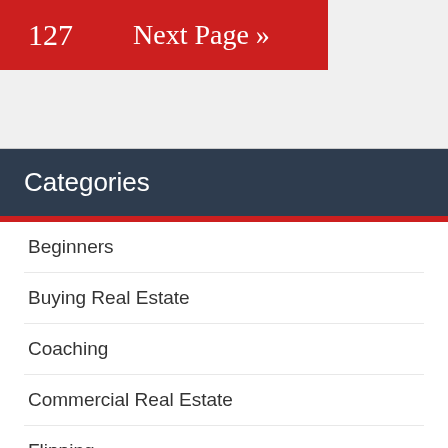127   Next Page »
Categories
Beginners
Buying Real Estate
Coaching
Commercial Real Estate
Flipping